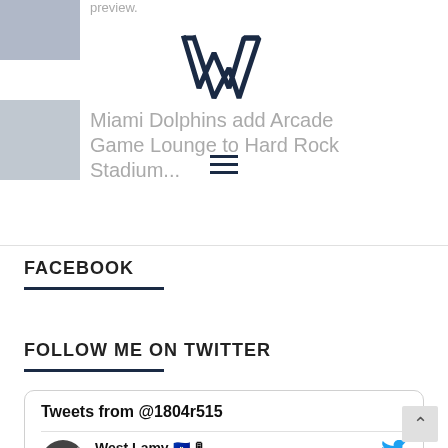[Figure (screenshot): Thumbnail image placeholder top left]
preview.
[Figure (logo): WorldWideWest logo with stylized W and text WORLDWIDEWEST]
[Figure (screenshot): Thumbnail image second row left]
Miami Dolphins add Arcade Game Lounge to Hard Rock Stadium...
FACEBOOK
FOLLOW ME ON TWITTER
Tweets from @1804r515
West Lamy 🇭🇹 🎙 @1804r515 · Aug 12